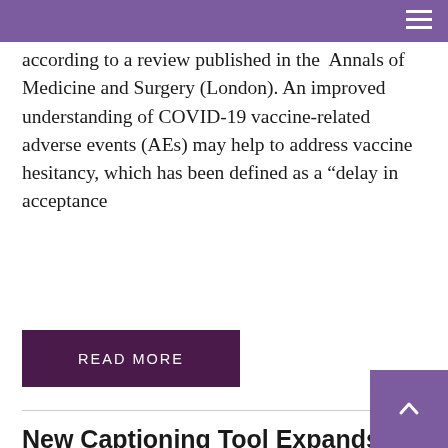according to a review published in the  Annals of Medicine and Surgery (London). An improved understanding of COVID-19 vaccine-related adverse events (AEs) may help to address vaccine hesitancy, which has been defined as a “delay in acceptance
READ MORE
New Captioning Tool Expands Options for Individuals with Hearing Loss
07/19/2022 | Hearing
The number of tools used to caption words has been expanding in recent years. The tools are especially helpful